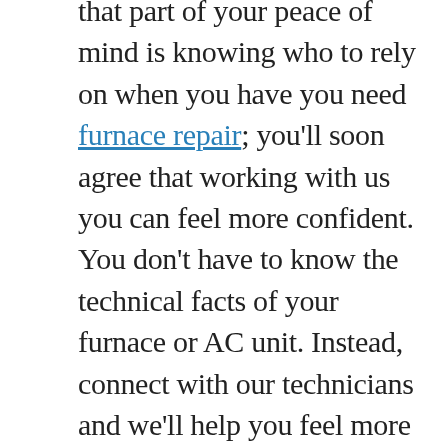that part of your peace of mind is knowing who to rely on when you have you need furnace repair; you'll soon agree that working with us you can feel more confident. You don't have to know the technical facts of your furnace or AC unit. Instead, connect with our technicians and we'll help you feel more comfortable. All you have to do is schedule an appointment and you'll see why our technicians are the ones that your friends and neighbors rely on. If you need some help today, don't settle. Instead see what everyone has found they can trust and schedule an appointment today. All you need to do is use our online scheduler, visit our Apex showroom, or call us at 919-578-4329 and we'll get you taken care of.